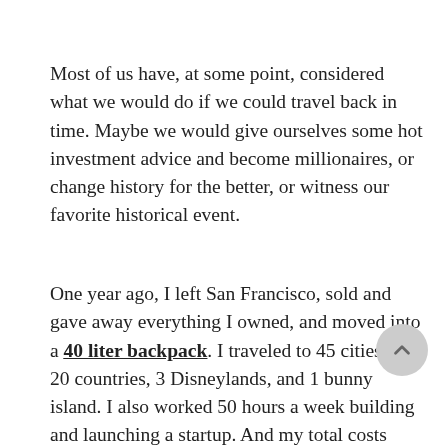Most of us have, at some point, considered what we would do if we could travel back in time. Maybe we would give ourselves some hot investment advice and become millionaires, or change history for the better, or witness our favorite historical event.
One year ago, I left San Francisco, sold and gave away everything I owned, and moved into a 40 liter backpack. I traveled to 45 cities in 20 countries, 3 Disneylands, and 1 bunny island. I also worked 50 hours a week building and launching a startup. And my total costs were